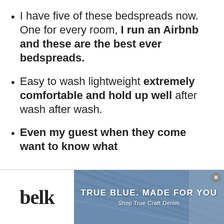I have five of these bedspreads now. One for every room, I run an Airbnb and these are the best ever bedspreads.
Easy to wash lightweight extremely comfortable and hold up well after wash after wash.
Even my guest when they come want to know what
[Figure (advertisement): Belk advertisement banner with logo on left and denim jeans background on right with text TRUE BLUE. MADE FOR YOU and Shop True Craft Denim]